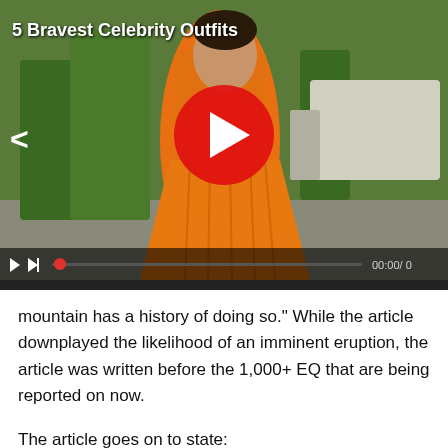[Figure (screenshot): Video thumbnail showing a woman in an orange dress with a red play button overlay. Title reads '5 Bravest Celebrity Outfits'. Video controls bar at bottom shows 00:00/ 0.]
mountain has a history of doing so." While the article downplayed the likelihood of an imminent eruption, the article was written before the 1,000+ EQ that are being reported on now.
The article goes on to state: